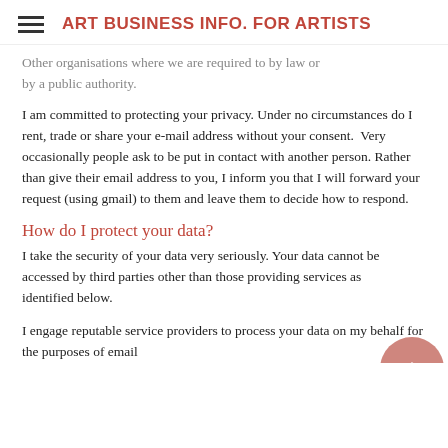ART BUSINESS INFO. FOR ARTISTS
Other organisations where we are required to by law or by a public authority.
I am committed to protecting your privacy. Under no circumstances do I rent, trade or share your e-mail address without your consent.  Very occasionally people ask to be put in contact with another person. Rather than give their email address to you, I inform you that I will forward your request (using gmail) to them and leave them to decide how to respond.
How do I protect your data?
I take the security of your data very seriously. Your data cannot be accessed by third parties other than those providing services as identified below.
I engage reputable service providers to process your data on my behalf for the purposes of email